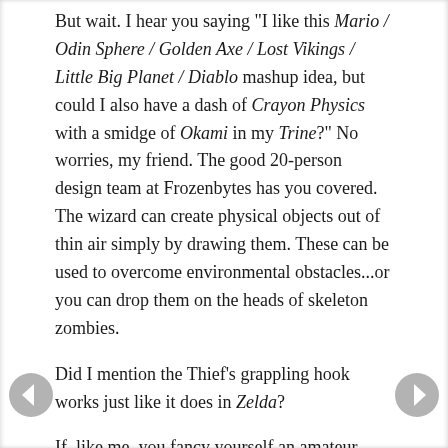But wait. I hear you saying "I like this Mario / Odin Sphere / Golden Axe / Lost Vikings / Little Big Planet / Diablo mashup idea, but could I also have a dash of Crayon Physics with a smidge of Okami in my Trine?" No worries, my friend. The good 20-person design team at Frozenbytes has you covered. The wizard can create physical objects out of thin air simply by drawing them. These can be used to overcome environmental obstacles...or you can drop them on the heads of skeleton zombies.
Did I mention the Thief's grappling hook works just like it does in Zelda?
If, like me, you fancy yourself an amateur video game anthropologist, Trine (pronounced like